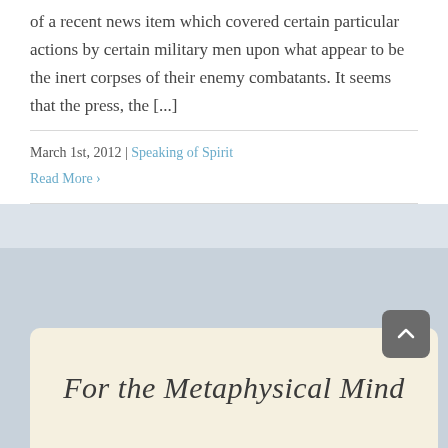of a recent news item which covered certain particular actions by certain military men upon what appear to be the inert corpses of their enemy combatants. It seems that the press, the [...]
March 1st, 2012 | Speaking of Spirit
Read More ›
For the Metaphysical Mind